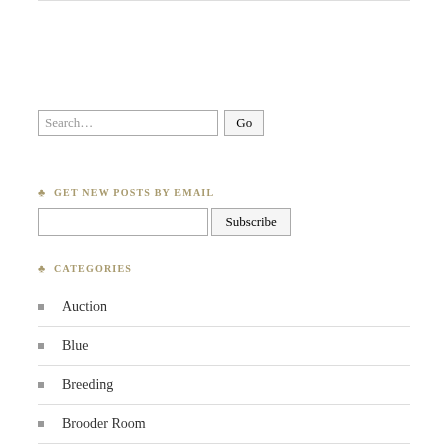Search…  Go
♣ GET NEW POSTS BY EMAIL
Subscribe
♣ CATEGORIES
Auction
Blue
Breeding
Brooder Room
Chicken Coop
Chicken Food